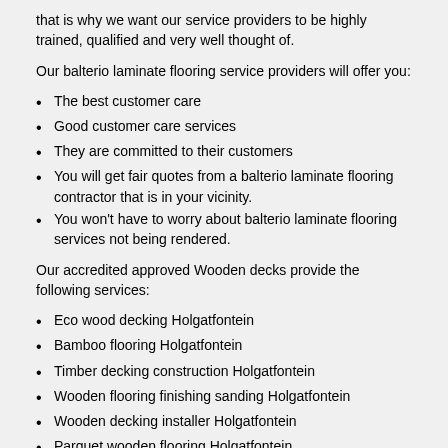that is why we want our service providers to be highly trained, qualified and very well thought of.
Our balterio laminate flooring service providers will offer you:
The best customer care
Good customer care services
They are committed to their customers
You will get fair quotes from a balterio laminate flooring contractor that is in your vicinity.
You won't have to worry about balterio laminate flooring services not being rendered.
Our accredited approved Wooden decks provide the following services:
Eco wood decking Holgatfontein
Bamboo flooring Holgatfontein
Timber decking construction Holgatfontein
Wooden flooring finishing sanding Holgatfontein
Wooden decking installer Holgatfontein
Parquet wooden flooring Holgatfontein
Wooden decks Holgatfontein
Balterio laminate flooring Holgatfontein
Laminate floors Holgatfontein
Laminated wooden flooring prices Holgatfontein
Decking solutions Holgatfontein
Wooden decks Holgatfontein
Wooden floor Holgatfontein